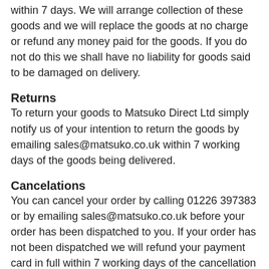within 7 days. We will arrange collection of these goods and we will replace the goods at no charge or refund any money paid for the goods. If you do not do this we shall have no liability for goods said to be damaged on delivery.
Returns
To return your goods to Matsuko Direct Ltd simply notify us of your intention to return the goods by emailing sales@matsuko.co.uk within 7 working days of the goods being delivered.
Cancelations
You can cancel your order by calling 01226 397383 or by emailing sales@matsuko.co.uk before your order has been dispatched to you. If your order has not been dispatched we will refund your payment card in full within 7 working days of the cancellation email been received. We will email you a confirmation that your refund has been